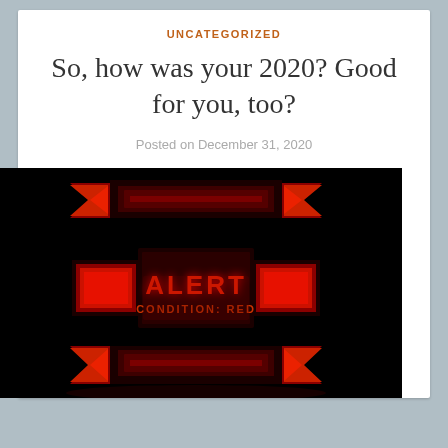UNCATEGORIZED
So, how was your 2020? Good for you, too?
Posted on December 31, 2020
[Figure (illustration): Black background with a red sci-fi style alert graphic featuring arrows pointing inward from four sides and bold text reading 'ALERT CONDITION: RED' in red neon-style lettering]